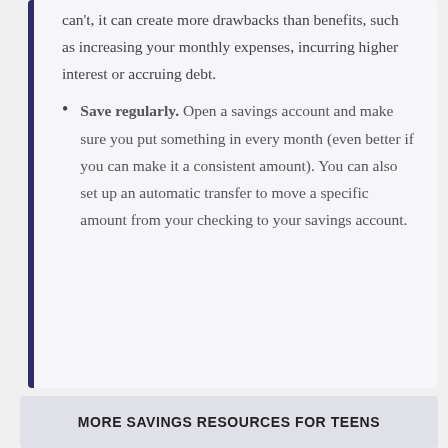can't, it can create more drawbacks than benefits, such as increasing your monthly expenses, incurring higher interest or accruing debt.
Save regularly. Open a savings account and make sure you put something in every month (even better if you can make it a consistent amount). You can also set up an automatic transfer to move a specific amount from your checking to your savings account.
MORE SAVINGS RESOURCES FOR TEENS